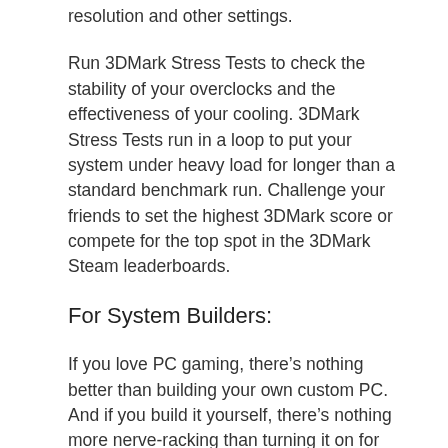resolution and other settings.
Run 3DMark Stress Tests to check the stability of your overclocks and the effectiveness of your cooling. 3DMark Stress Tests run in a loop to put your system under heavy load for longer than a standard benchmark run. Challenge your friends to set the highest 3DMark score or compete for the top spot in the 3DMark Steam leaderboards.
For System Builders:
If you love PC gaming, there’s nothing better than building your own custom PC. And if you build it yourself, there’s nothing more nerve-racking than turning it on for the first time. Will it boot? Will everything work properly? Whether you’re building a complete system from scratch or